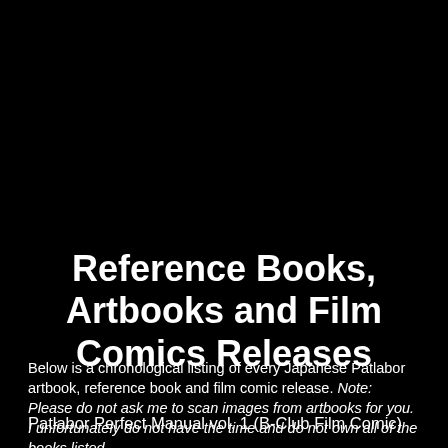Reference Books, Artbooks and Film Comics Releases
Below is a chronological listing of every Japanese Patlabor artbook, reference book and film comic release. Note: Please do not ask me to scan images from artbooks for you. I unfortunately do not have the time and do not own all of the books listed.
Patlabor Perfect Manual vol. 1 (B-Club Film Comic)